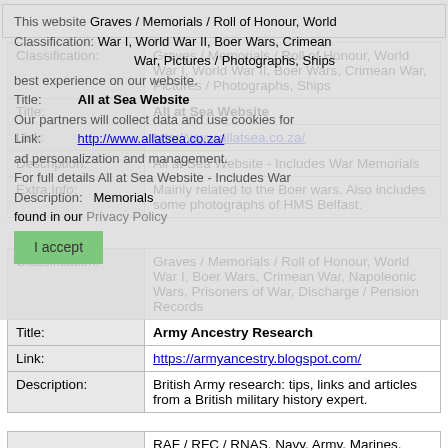| Classification: | Graves / Memorials / Roll of Honour, World War I, World War II, Boer Wars, Crimean War, Pictures / Photographs, Ships |
| Title: | All at Sea Website |
| Link: | http://www.allatsea.co.za/ |
| Description: | All at Sea Website - Includes War Memorials |
| Extra Info: | Mainly related to the Boer wars. Also includes some photographs of HMS Belfast. |
| Classification: | Graves / Memorials / Roll of Honour, World War I, Boer Wars, Crimean War, Napoleonic Wars, Prisoners of War, Discharge / Pension Records |
| Title: | Army Ancestry Research |
| Link: | https://armyancestry.blogspot.com/ |
| Description: | British Army research: tips, links and articles from a British military history expert. |
| Classification: | RAF / RFC / RNAS, Navy, Army, Marines, World War I, World War II, Boer Wars |